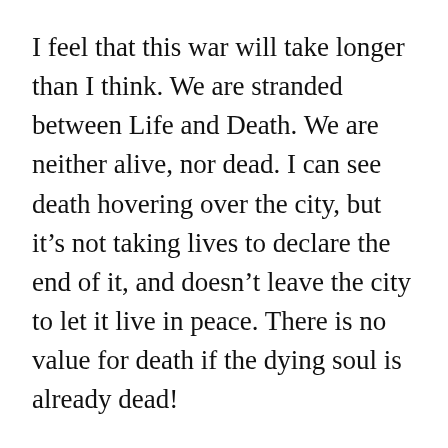I feel that this war will take longer than I think. We are stranded between Life and Death. We are neither alive, nor dead. I can see death hovering over the city, but it’s not taking lives to declare the end of it, and doesn’t leave the city to let it live in peace. There is no value for death if the dying soul is already dead!
I saw a video where children were dragging along the ground ISIL dead corpses. I cried just for seeing this hideous scene. I was fearing this very moment. It frightens me to see such scenes take place in my city. But I